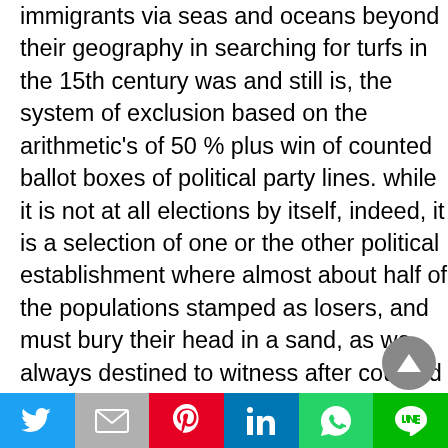immigrants via seas and oceans beyond their geography in searching for turfs in the 15th century was and still is, the system of exclusion based on the arithmetic's of 50 % plus win of counted ballot boxes of political party lines. while it is not at all elections by itself, indeed, it is a selection of one or the other political establishment where almost about half of the populations stamped as losers, and must bury their head in a sand, as we always destined to witness after counted ballots and announcement of the winners political party that